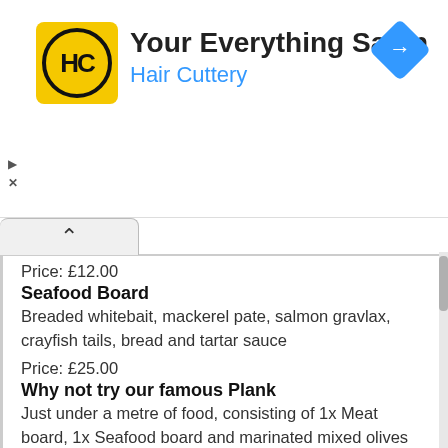[Figure (logo): Hair Cuttery 'Your Everything Salon' advertisement banner with yellow HC logo, blue subtitle, and blue diamond arrow icon]
Price: £12.00
Seafood Board
Breaded whitebait, mackerel pate, salmon gravlax, crayfish tails, bread and tartar sauce
Price: £25.00
Why not try our famous Plank
Just under a metre of food, consisting of 1x Meat board, 1x Seafood board and marinated mixed olives
Price: £8.50